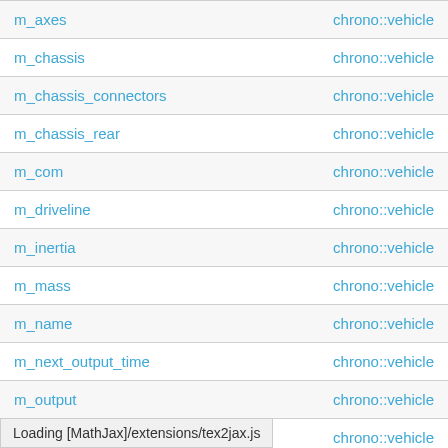| Member | Class |
| --- | --- |
| m_axes | chrono::vehicle |
| m_chassis | chrono::vehicle |
| m_chassis_connectors | chrono::vehicle |
| m_chassis_rear | chrono::vehicle |
| m_com | chrono::vehicle |
| m_driveline | chrono::vehicle |
| m_inertia | chrono::vehicle |
| m_mass | chrono::vehicle |
| m_name | chrono::vehicle |
| m_next_output_time | chrono::vehicle |
| m_output | chrono::vehicle |
| m_output_db | chrono::vehicle |
| m_output_frame | chrono::vehicle |
| (partial) | chrono::vehicle |
Loading [MathJax]/extensions/tex2jax.js